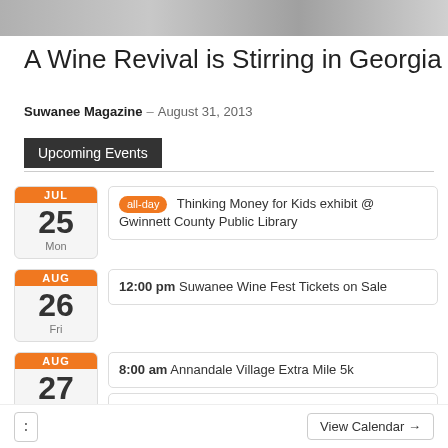[Figure (photo): Decorative photo strip at top of page]
A Wine Revival is Stirring in Georgia
Suwanee Magazine – August 31, 2013
Upcoming Events
JUL 25 Mon | all-day Thinking Money for Kids exhibit @ Gwinnett County Public Library
AUG 26 Fri | 12:00 pm Suwanee Wine Fest Tickets on Sale
AUG 27 Sat | 8:00 am Annandale Village Extra Mile 5k
AUG 27 Sat | 8:00 am Suwanee Farmers Market
AUG 27 Sat | 9:00 am Saint Monica's Catholic Church A...
View Calendar →